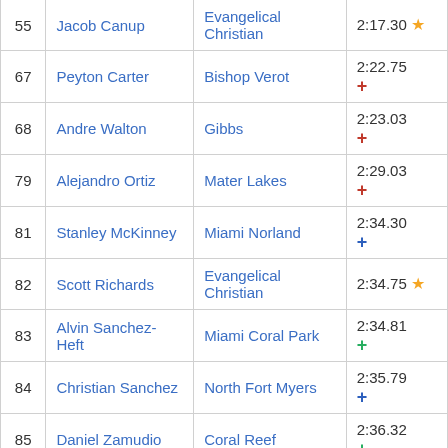| # | Name | School | Time |
| --- | --- | --- | --- |
| 55 | Jacob Canup | Evangelical Christian | 2:17.30 ★ |
| 67 | Peyton Carter | Bishop Verot | 2:22.75 + |
| 68 | Andre Walton | Gibbs | 2:23.03 + |
| 79 | Alejandro Ortiz | Mater Lakes | 2:29.03 + |
| 81 | Stanley McKinney | Miami Norland | 2:34.30 + |
| 82 | Scott Richards | Evangelical Christian | 2:34.75 ★ |
| 83 | Alvin Sanchez-Heft | Miami Coral Park | 2:34.81 + |
| 84 | Christian Sanchez | North Fort Myers | 2:35.79 + |
| 85 | Daniel Zamudio | Coral Reef | 2:36.32 + |
| 87 | Patrick Phelan | American Heritage | 2:38.45 + |